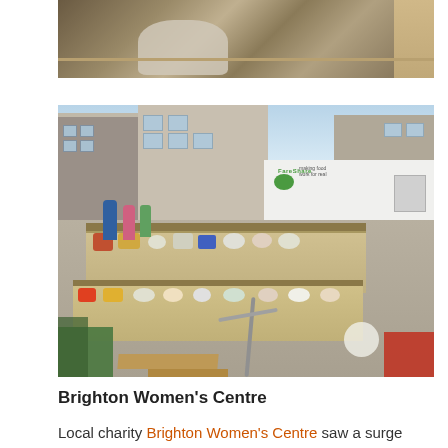[Figure (photo): Partial top photo showing cluttered shelves and boxes with a large white bag or roll in the foreground, indoors.]
[Figure (photo): Outdoor food distribution scene with tables lined with food and bags, a FareShare branded green-and-white van parked to the right, people milling around, and modern apartment buildings in the background.]
Brighton Women's Centre
Local charity Brighton Women's Centre saw a surge